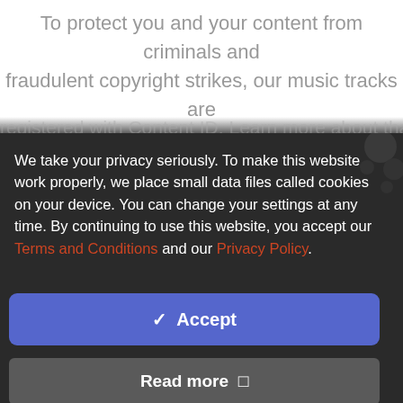To protect you and your content from criminals and fraudulent copyright strikes, our music tracks are
registered with Content ID. Learn more about that in our
We take your privacy seriously. To make this website work properly, we place small data files called cookies on your device. You can change your settings at any time. By continuing to use this website, you accept our Terms and Conditions and our Privacy Policy.
✔ Accept
Read more ❐
Change Settings ⚙